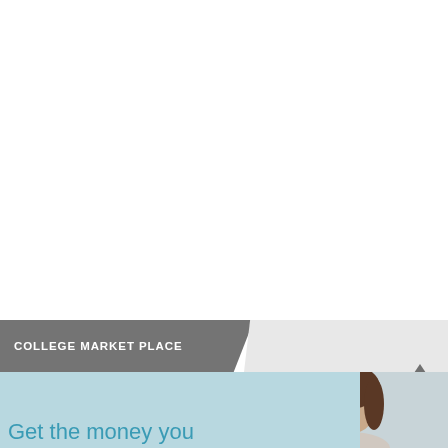COLLEGE MARKET PLACE
[Figure (photo): Young woman with brown hair, partial view, used as banner image for College Market Place advertisement]
Get the money you